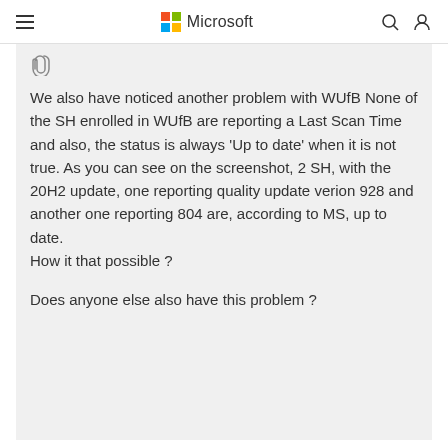Microsoft
[Figure (illustration): Paperclip icon]
We also have noticed another problem with WUfB None of the SH enrolled in WUfB are reporting a Last Scan Time and also, the status is always 'Up to date' when it is not true. As you can see on the screenshot, 2 SH, with the 20H2 update, one reporting quality update verion 928 and another one reporting 804 are, according to MS, up to date.
How it that possible ?
Does anyone else also have this problem ?